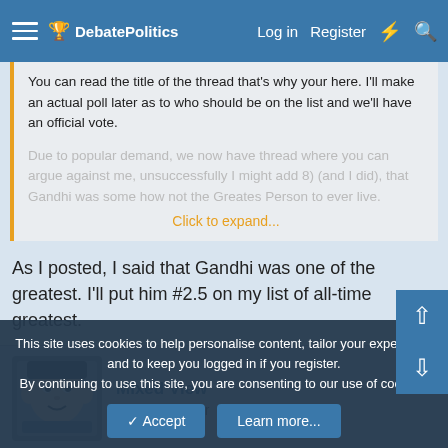DebatePolitics — Log in  Register
You can read the title of the thread that's why your here. I'll make an actual poll later as to who should be on the list and we'll have an official vote.
Due to popular demand, we now have thread where you can argue against me, unsuccessfully I might add 8) (and I did), that Gandhi was some how not the Greates Person to ever live.
Click to expand...
As I posted, I said that Gandhi was one of the greatest. I'll put him #2.5 on my list of all-time greatest.
Mixed View
Active member
This site uses cookies to help personalise content, tailor your experience and to keep you logged in if you register.
By continuing to use this site, you are consenting to our use of cookies.
Accept
Learn more...